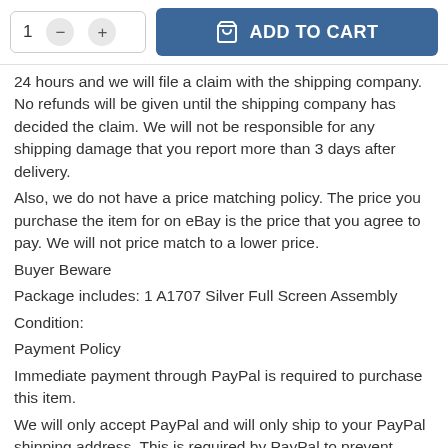[Figure (screenshot): E-commerce quantity selector and Add to Cart button UI element]
24 hours and we will file a claim with the shipping company. No refunds will be given until the shipping company has decided the claim. We will not be responsible for any shipping damage that you report more than 3 days after delivery.
Also, we do not have a price matching policy. The price you purchase the item for on eBay is the price that you agree to pay. We will not price match to a lower price.
Buyer Beware
Package includes: 1 A1707 Silver Full Screen Assembly
Condition:
Payment Policy
Immediate payment through PayPal is required to purchase this item.
We will only accept PayPal and will only ship to your PayPal shipping address. This is required by PayPal to prevent fraudulent chargebacks.